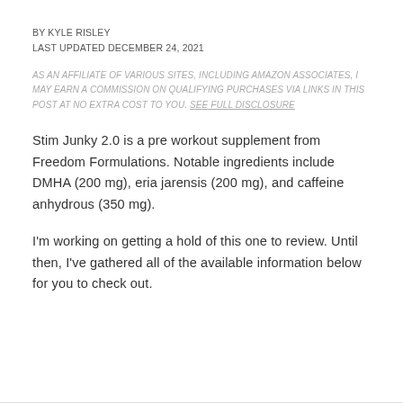BY KYLE RISLEY
LAST UPDATED DECEMBER 24, 2021
AS AN AFFILIATE OF VARIOUS SITES, INCLUDING AMAZON ASSOCIATES, I MAY EARN A COMMISSION ON QUALIFYING PURCHASES VIA LINKS IN THIS POST AT NO EXTRA COST TO YOU. SEE FULL DISCLOSURE
Stim Junky 2.0 is a pre workout supplement from Freedom Formulations. Notable ingredients include DMHA (200 mg), eria jarensis (200 mg), and caffeine anhydrous (350 mg).
I'm working on getting a hold of this one to review. Until then, I've gathered all of the available information below for you to check out.